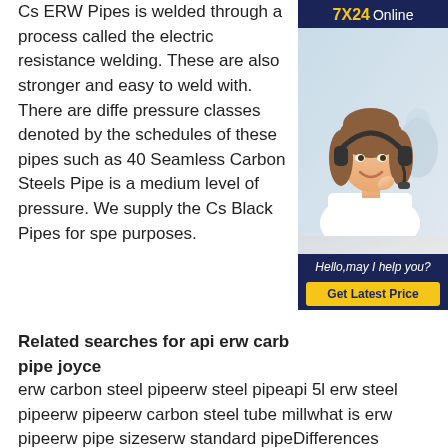Cs ERW Pipes is welded through a process called the electric resistance welding. These are also stronger and easy to weld with. There are different pressure classes denoted by the schedules of these pipes such as 40 Seamless Carbon Steels Pipe is a medium level of pressure. We supply the Cs Black Pipes for special purposes.
[Figure (photo): Advertisement box with dark blue background showing '7X24 Online' header in yellow/white, a photo of a woman wearing a headset, text 'Hello, may I help you?' in italic white, and a yellow 'Get Latest Price' button.]
Related searches for api erw carb pipe joyce
erw carbon steel pipeerw steel pipeapi 5l erw steel pipeerw pipeerw carbon steel tube millwhat is erw pipeerw pipe sizeserw standard pipeDifferences between ERW Steel Pipe and HEW Steel